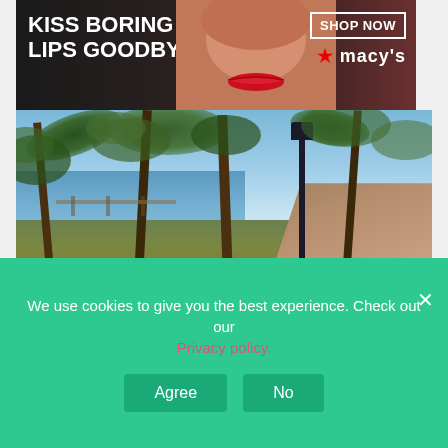[Figure (photo): Macy's advertisement banner: 'KISS BORING LIPS GOODBYE' with SHOP NOW button and Macy's star logo, featuring a woman's face with red lips on dark background]
[Figure (photo): Outdoor tropical scene with palm trees, a waterfront promenade path, blue sky and water, with a black lamp post along a brick walkway]
CLOSE
[Figure (photo): Victoria's Secret advertisement: woman's face, VS monogram logo, 'SHOP THE COLLECTION' text, and 'SHOP NOW' button on pink background]
1. Ch
We use cookies to give you the best experience. Check out our Privacy policy.
Agree
No